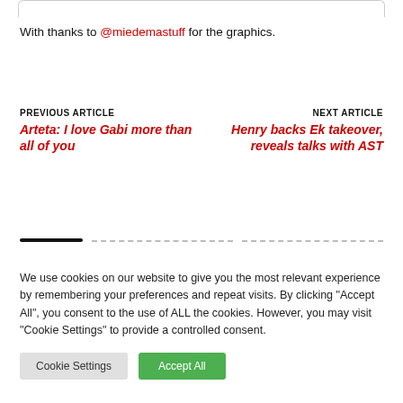With thanks to @miedemastuff for the graphics.
PREVIOUS ARTICLE
Arteta: I love Gabi more than all of you
NEXT ARTICLE
Henry backs Ek takeover, reveals talks with AST
We use cookies on our website to give you the most relevant experience by remembering your preferences and repeat visits. By clicking "Accept All", you consent to the use of ALL the cookies. However, you may visit "Cookie Settings" to provide a controlled consent.